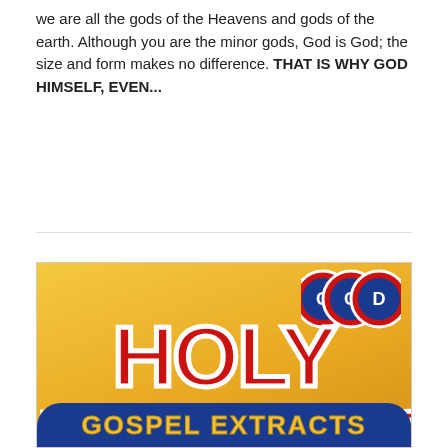we are all the gods of the Heavens and gods of the earth. Although you are the minor gods, God is God; the size and form makes no difference. THAT IS WHY GOD HIMSELF, EVEN...
CONTINUE READING→
[Figure (illustration): Book cover image on golden/yellow gradient background with large red bold text reading 'HOLY FATHER'S' with white stroke outline, decorative circular logo/badge at top right in red/white/blue, and a dark blue banner at the bottom partially reading 'GOSPEL EXTRACTS']